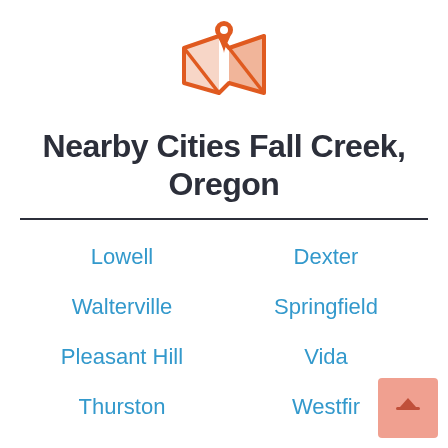[Figure (logo): Orange map pin / location icon with envelope/map graphics in orange]
Nearby Cities Fall Creek, Oregon
Lowell
Dexter
Walterville
Springfield
Pleasant Hill
Vida
Thurston
Westfir